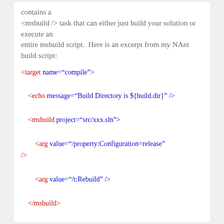contains a <msbuild /> task that can either just build your solution or execute an entire msbuild script.  Here is an excerpt from my NAnt build script:
<target name="compile">
    <echo message="Build Directory is ${build.dir}" />
    <msbuild project="src/xxx.sln">
        <arg value="/property:Configuration=release" />
        <arg value="/t:Rebuild" />
    </msbuild>
</target>